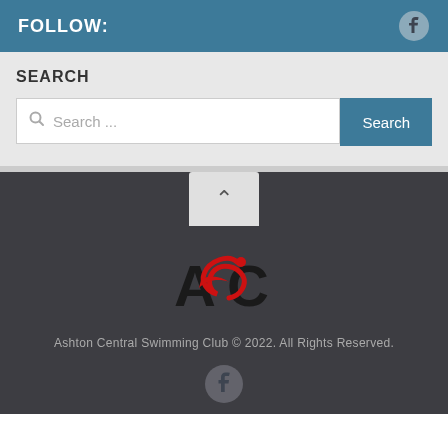FOLLOW:
SEARCH
Search ...
[Figure (logo): Ashton Central Swimming Club logo with letters A and C and a red swimmer/fish swoosh]
Ashton Central Swimming Club © 2022. All Rights Reserved.